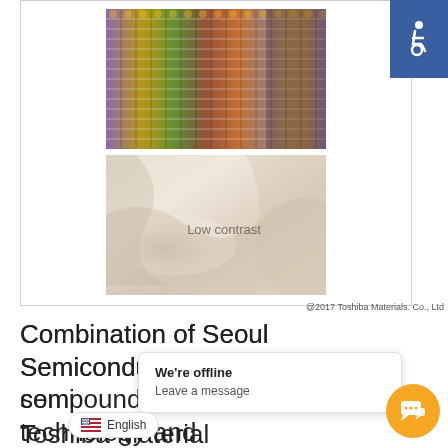[Figure (photo): Close-up photo of colorful woven fabric with rainbow/iridescent beads or threads in purple, green, gold, and red tones — demonstrating high contrast textile]
[Figure (photo): Photo of cream/white silk fabric with soft folds and the text 'Low contrast' overlaid in dark gray — demonstrating low contrast textile]
@2017 Toshiba Materials. Co., Ltd
Combination of Seoul Semiconductor's compound semiconductor technology and Toshiba Material's color rendering ol TRI... ht spectrum technology
[Figure (other): White accessibility icon (wheelchair symbol) on blue square background — accessibility button]
We're offline
Leave a message
English
[Figure (other): Orange circular chat/message button with speech bubble icon]